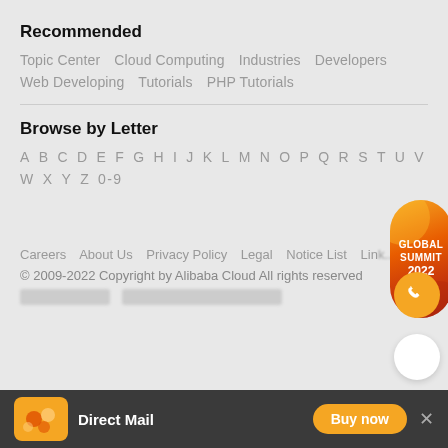Recommended
Topic Center   Cloud Computing   Industries   Developers
Web Developing   Tutorials   PHP Tutorials
Browse by Letter
A B C D E F G H I J K L M N O P Q R S T U V
W X Y Z 0-9
[Figure (illustration): Global Summit 2022 badge - orange/red gradient pill-shaped badge with text GLOBAL SUMMIT 2022]
[Figure (illustration): Orange circular phone/call button]
Careers   About Us   Privacy Policy   Legal   Notice List   Link...
© 2009-2022 Copyright by Alibaba Cloud All rights reserved
[Figure (screenshot): Bottom promotional bar for Direct Mail with orange app icon, dark background, Buy now button, and close X]
Direct Mail
Buy now